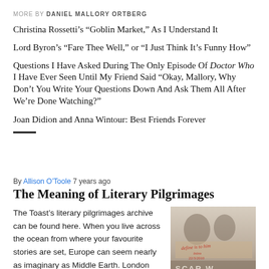MORE BY DANIEL MALLORY ORTBERG
Christina Rossetti's “Goblin Market,” As I Understand It
Lord Byron’s “Fare Thee Well,” or “I Just Think It’s Funny How”
Questions I Have Asked During The Only Episode Of Doctor Who I Have Ever Seen Until My Friend Said “Okay, Mallory, Why Don’t You Write Your Questions Down And Ask Them All After We’re Done Watching?”
Joan Didion and Anna Wintour: Best Friends Forever
By Allison O’Toole 7 years ago
The Meaning of Literary Pilgrimages
The Toast's literary pilgrimages archive can be found here. When you live across the ocean from where your favourite stories are set, Europe can seem nearly as imaginary as Middle Earth. London and Paris are real, but in my mind they exist as an amalgam of stories. Pure
[Figure (photo): A hazy photograph showing people or figures, with handwritten text visible reading something like 'define is to him' and a date, and text at bottom reading 'SCAR W']